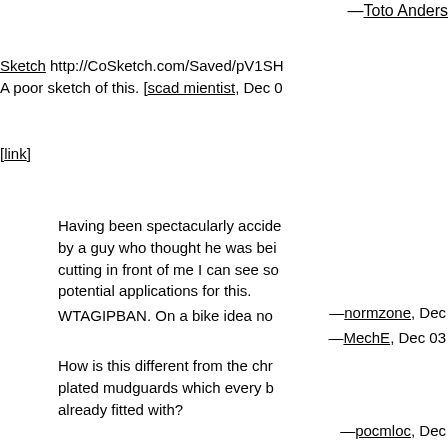—Toto Anders
Sketch http://CoSketch.com/Saved/pV1SH A poor sketch of this. [scad mientist, Dec 0
[link]
Having been spectacularly accide by a guy who thought he was bei cutting in front of me I can see so potential applications for this. —normzone, Dec
WTAGIPBAN. On a bike idea no —MechE, Dec 03
How is this different from the chr plated mudguards which every b already fitted with? —pocmloc, Dec
I think, translated into British Eng that's "Mount a roller behind the r wheel.."? —not_morrison_rm, Dec